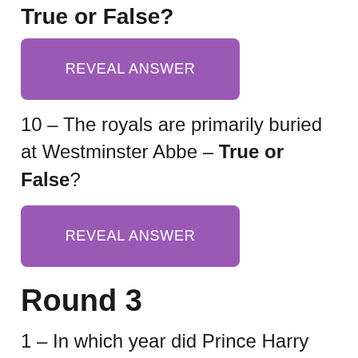True or False?
[Figure (other): Purple button labeled REVEAL ANSWER]
10 – The royals are primarily buried at Westminster Abbe – True or False?
[Figure (other): Purple button labeled REVEAL ANSWER]
Round 3
1 – In which year did Prince Harry get married?